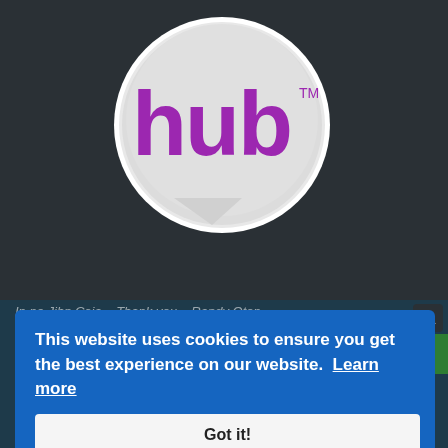[Figure (logo): Hub Network logo — white speech bubble shape containing the word 'hub' in purple lowercase letters with a trademark symbol, on a dark background]
In no Jihn Ceja... Thank you - Randy Oton
Chris...
Re: Need help ripping game music
July 31st, 2018, 8:49pm
I don't know. The "rips" I've found for the game aren't explicit about being direct rips vs. recordings. I usually assume that a game "rip" is just that: a
This website uses cookies to ensure you get the best experience on our website. Learn more
Got it!